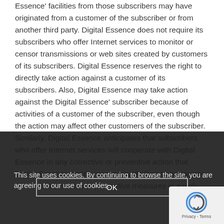Essence' facilities from those subscribers may have originated from a customer of the subscriber or from another third party. Digital Essence does not require its subscribers who offer Internet services to monitor or censor transmissions or web sites created by customers of its subscribers. Digital Essence reserves the right to directly take action against a customer of its subscribers. Also, Digital Essence may take action against the Digital Essence' subscriber because of activities of a customer of the subscriber, even though the action may affect other customers of the subscriber. Similarly, Digital Essence anticipates that subscribers who offer Internet services will cooperate with Digital Essence in any corrective or preventive action that Digital Essence deems necessary. Failure to cooperate with such corrective or preventive measures is a violation of Digital Essence policy.
This site uses cookies. By continuing to browse the site, you are agreeing to our use of cookies.
OK